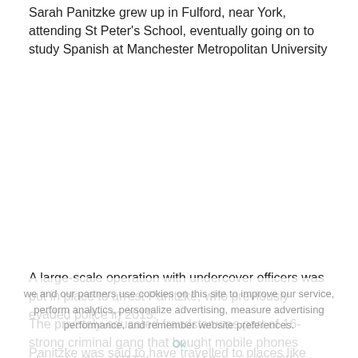Sarah Panitzke grew up in Fulford, near York, attending St Peter's School, eventually going on to study Spanish at Manchester Metropolitan University
A large-scale operation with undercover officers was put in place to arrest Panitzke, who previously evaded police in 2015.
The privately-educated fraudster was part of 16-strong criminal gang that bought mobile phones abroad without VAT then resold them in the UK.
Panitzke was said to have travelled to places like Dubai, Spain and...